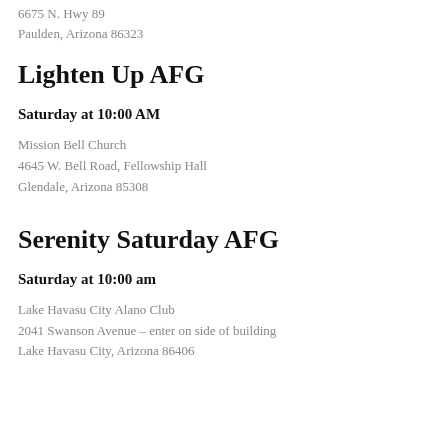6675 N. Hwy 89
Paulden, Arizona 86323
Lighten Up AFG
Saturday at 10:00 AM
Mission Bell Church
4645 W. Bell Road, Fellowship Hall
Glendale, Arizona 85308
Serenity Saturday AFG
Saturday at 10:00 am
Lake Havasu City Alano Club
2041 Swanson Avenue – enter on side of building
Lake Havasu City, Arizona 86406